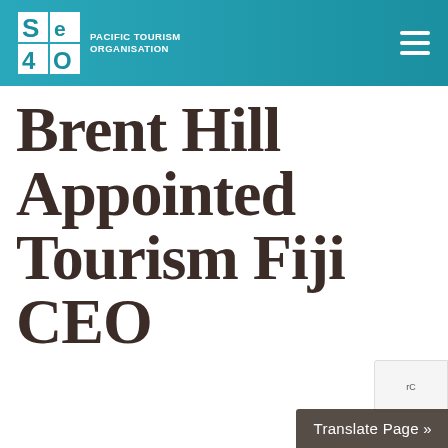PACIFIC TOURISM ORGANISATION
Brent Hill Appointed Tourism Fiji CEO
RECENT POSTS
Tourism Fiji Announces New Fiji-born Appointments To The Team – Returning From Overseas
ANZ Fiji Excellence in Tourism – new categories and opening...